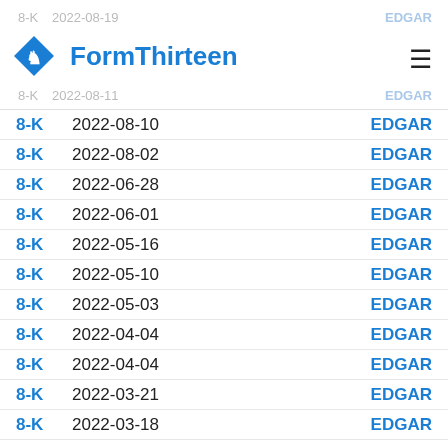FormThirteen | 8-K 2022-08-19 EDGAR | 8-K 2022-08-11 EDGAR
8-K  2022-08-10  EDGAR
8-K  2022-08-02  EDGAR
8-K  2022-06-28  EDGAR
8-K  2022-06-01  EDGAR
8-K  2022-05-16  EDGAR
8-K  2022-05-10  EDGAR
8-K  2022-05-03  EDGAR
8-K  2022-04-04  EDGAR
8-K  2022-04-04  EDGAR
8-K  2022-03-21  EDGAR
8-K  2022-03-18  EDGAR
8-K  2022-03-18  EDGAR
8-K  2022-03-07  EDGAR
8-K  2022-03-02  EDGAR